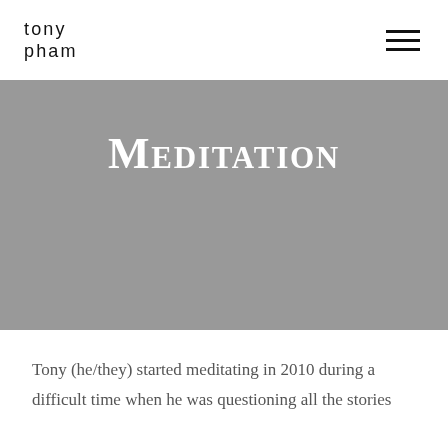tony pham
Meditation
Tony (he/they) started meditating in 2010 during a difficult time when he was questioning all the stories